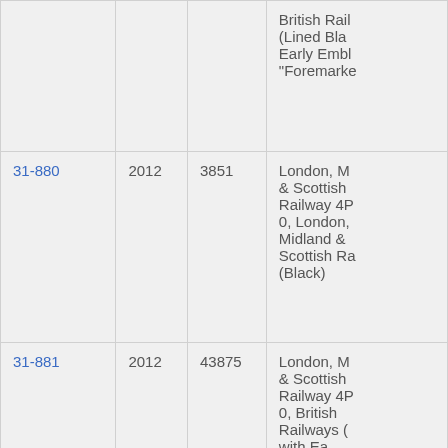| Item | Year | Number | Description |
| --- | --- | --- | --- |
|  |  |  | British Rail (Lined Bla... Early Embl... "Foremarke... |
| 31-880 | 2012 | 3851 | London, M... & Scottish Railway 4P 0, London, Midland & Scottish Ra... (Black) |
| 31-881 | 2012 | 43875 | London, M... & Scottish Railway 4P 0, British Railways (... with Ea... |